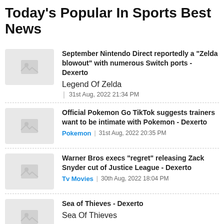Today's Popular In Sports Best News
September Nintendo Direct reportedly a "Zelda blowout" with numerous Switch ports - Dexerto | Legend Of Zelda | 31st Aug, 2022 21:34 PM
Official Pokemon Go TikTok suggests trainers want to be intimate with Pokemon - Dexerto | Pokemon | 31st Aug, 2022 20:35 PM
Warner Bros execs "regret" releasing Zack Snyder cut of Justice League - Dexerto | Tv Movies | 30th Aug, 2022 18:04 PM
Sea of Thieves - Dexerto | Sea Of Thieves